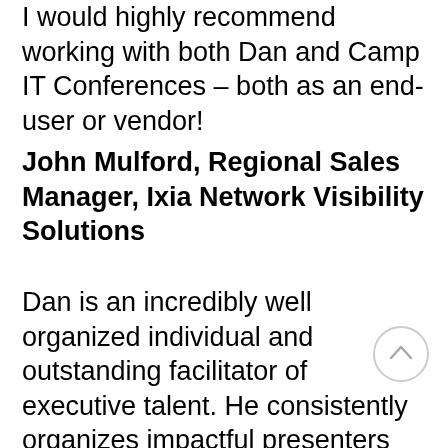I would highly recommend working with both Dan and Camp IT Conferences – both as an end-user or vendor!
John Mulford, Regional Sales Manager, Ixia Network Visibility Solutions
Dan is an incredibly well organized individual and outstanding facilitator of executive talent. He consistently organizes impactful presenters and designs engaging agendas at each CAMP IT conference